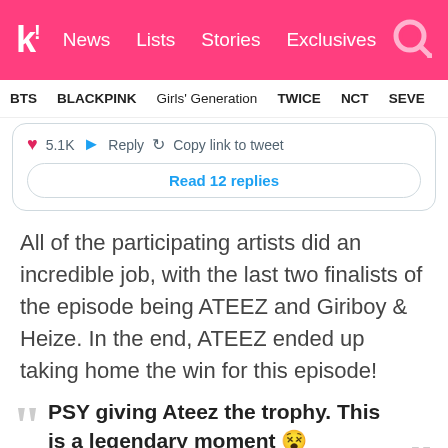k! News Lists Stories Exclusives
BTS BLACKPINK Girls' Generation TWICE NCT SEVE
[Figure (screenshot): Partial tweet embed showing 5.1K hearts, Reply button, Copy link to tweet, and Read 12 replies button]
All of the participating artists did an incredible job, with the last two finalists of the episode being ATEEZ and Giriboy & Heize. In the end, ATEEZ ended up taking home the win for this episode!
PSY giving Ateez the trophy. This is a legendary moment 😵 pic.twitter.com/1ZJ90GC3q4
...toki(@R...ndersia) May 22, 2021